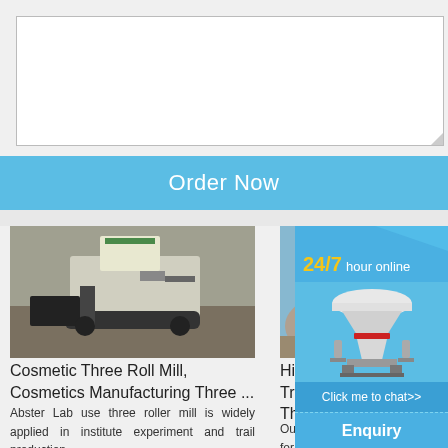[Figure (other): Empty white textarea/input box with resize handle at bottom-right corner]
Order Now
[Figure (photo): Cosmetic Three Roll Mill machine on job site, construction machinery on dirt road]
Cosmetic Three Roll Mill, Cosmetics Manufacturing Three ...
Abster Lab use three roller mill is widely applied in institute experiment and trail production
[Figure (photo): High Speed Triple Roll / Three Roll mill machinery photo]
High Spe... Triple Ro... Three Ro...
Our three ... for printin... material,
[Figure (infographic): Blue 24/7 hour online panel with cone crusher machine image, click to chat button, Enquiry bar, and limingjlmofen text]
24/7 hour online
Click me to chat>>
Enquiry
limingjlmofen